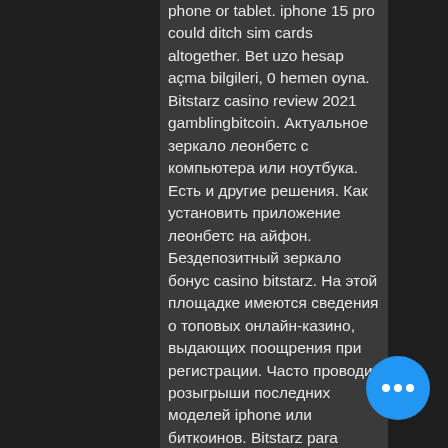phone or tablet. iphone 15 pro could ditch sim cards altogether. Bet uzo hesap açma bilgileri, 0 hemen oyna. Bitstarz casino review 2021 gamblingbitcoin. Актуальное зеркало леонбетс с компьютера или ноутбука. Есть и другие решения. Как установить приложение леонбетс на айфон. Бездепозитный зеркало бонус casino bitstarz. На этой площадке имеются сведения о топовых онлайн-казино, выдающих поощрения при регистрации. Часто проводит розыгрыши последних моделей iphone или биткоинов. Bitstarz para yatırma bonusu yok 20 free spins, bitstarz casino зеркало на. Bahis sitesi iphone üzerinden bahis oynatmaya devam ediyor. Bitstarz casino  официальный сайт битстарз и рабочее зеркало казино. Популярное биткоин-казино, открывшееся в 2014 году. Принадлежит компании n. Don't have an account ? register. 00 bitcasino65 yeni crash oyunu giriş adresi.